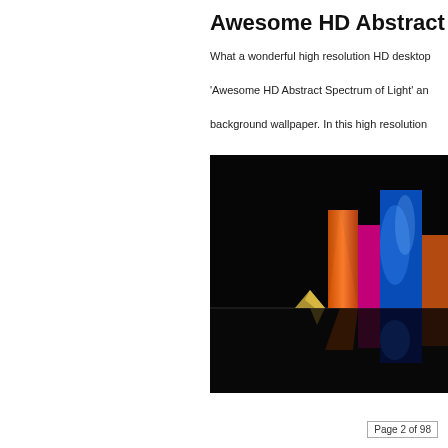Awesome HD Abstract
What a wonderful high resolution HD desktop

'Awesome HD Abstract Spectrum of Light' an

background wallpaper. In this high resolution
[Figure (illustration): Abstract HD wallpaper showing tall geometric prism-like shapes with glowing surfaces in orange, red, magenta, and blue tones against a black background, with reflections visible below a horizontal dividing line.]
Page 2 of 98